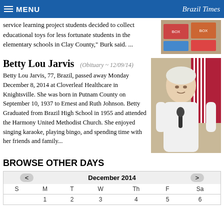MENU | Brazil Times
service learning project students decided to collect educational toys for less fortunate students in the elementary schools in Clay County," Burk said. ...
[Figure (photo): Photo of educational toys/boxes]
Betty Lou Jarvis (Obituary ~ 12/09/14)
Betty Lou Jarvis, 77, Brazil, passed away Monday December 8, 2014 at Cloverleaf Healthcare in Knightsville. She was born in Putnam County on September 10, 1937 to Ernest and Ruth Johnson. Betty Graduated from Brazil High School in 1955 and attended the Harmony United Methodist Church. She enjoyed singing karaoke, playing bingo, and spending time with her friends and family...
[Figure (photo): Photo of Betty Lou Jarvis, elderly woman with white hair holding a microphone, American flag in background]
BROWSE OTHER DAYS
| S | M | T | W | Th | F | Sa |
| --- | --- | --- | --- | --- | --- | --- |
|  | 1 | 2 | 3 | 4 | 5 | 6 |